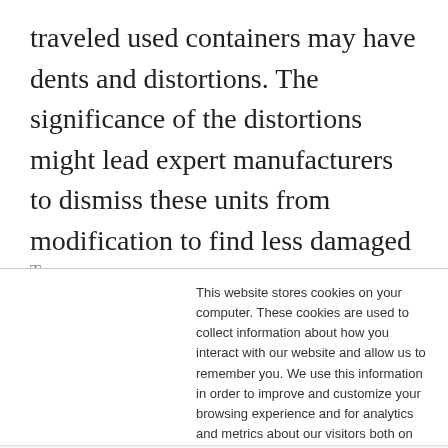traveled used containers may have dents and distortions. The significance of the distortions might lead expert manufacturers to dismiss these units from modification to find less damaged containers.
This website stores cookies on your computer. These cookies are used to collect information about how you interact with our website and allow us to remember you. We use this information in order to improve and customize your browsing experience and for analytics and metrics about our visitors both on this website and other media. To find out more about the cookies we use, see our Privacy Policy.
Accept and Close ✕
Your browser settings do not allow cross-site tracking for advertising. Click on this page to allow AdRoll to use cross-site tracking to tailor ads to you. Learn more or opt out of this AdRoll tracking by clicking here. This message only appears once.